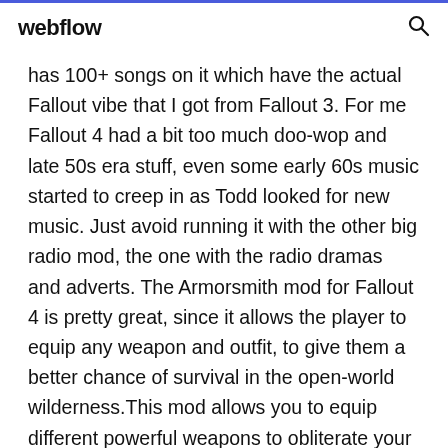webflow
has 100+ songs on it which have the actual Fallout vibe that I got from Fallout 3. For me Fallout 4 had a bit too much doo-wop and late 50s era stuff, even some early 60s music started to creep in as Todd looked for new music. Just avoid running it with the other big radio mod, the one with the radio dramas and adverts. The Armorsmith mod for Fallout 4 is pretty great, since it allows the player to equip any weapon and outfit, to give them a better chance of survival in the open-world wilderness.This mod allows you to equip different powerful weapons to obliterate your enemies and also lets you wear cool outfits to